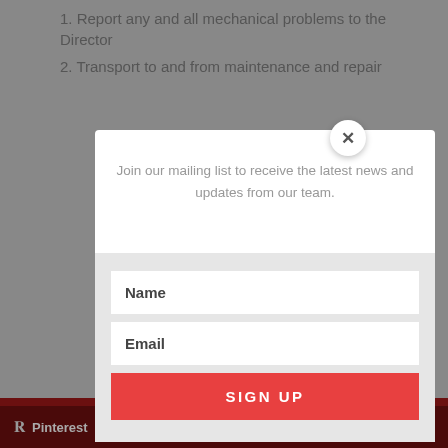1. Report any and all mechanical problems to the Director
2. Transport to and from maintenance and repair
Join our mailing list to receive the latest news and updates from our team.
Name
Email
SIGN UP
Pinterest  Share This  ×